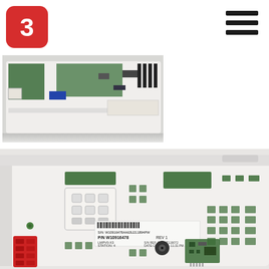[Figure (logo): Red rounded square logo with white letter/symbol resembling '3' or 'e' inside]
[Figure (other): Hamburger menu icon — three horizontal black bars]
[Figure (photo): Top-down photo of a white electronic control board (PCB) with green circuit board sections, connectors, and components mounted on white plastic housing]
[Figure (photo): Close-up angled photo of the back of a white electronic control board showing a white multi-pin connector, green PCB sections, a red connector, a barcode label reading P/N W10916478 REV 1, S/N W10916478AA63U211894PW, LMPV0-X3, STATION: 4, and various square mounting points]